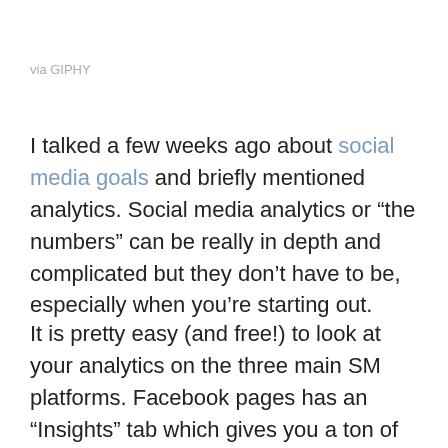via GIPHY
I talked a few weeks ago about social media goals and briefly mentioned analytics. Social media analytics or “the numbers” can be really in depth and complicated but they don’t have to be, especially when you’re starting out.
It is pretty easy (and free!) to look at your analytics on the three main SM platforms. Facebook pages has an “Insights” tab which gives you a ton of numbers (and if you hit “Export Data” you can get even more), Twitter